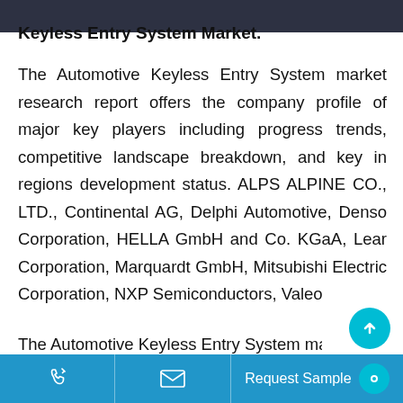Keyless Entry System Market.
The Automotive Keyless Entry System market research report offers the company profile of major key players including progress trends, competitive landscape breakdown, and key in regions development status. ALPS ALPINE CO., LTD., Continental AG, Delphi Automotive, Denso Corporation, HELLA GmbH and Co. KGaA, Lear Corporation, Marquardt GmbH, Mitsubishi Electric Corporation, NXP Semiconductors, Valeo
The Automotive Keyless Entry System mar…
Request Sample